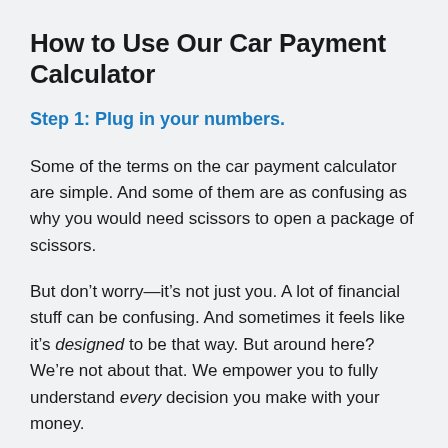How to Use Our Car Payment Calculator
Step 1: Plug in your numbers.
Some of the terms on the car payment calculator are simple. And some of them are as confusing as why you would need scissors to open a package of scissors.
But don’t worry—it’s not just you. A lot of financial stuff can be confusing. And sometimes it feels like it’s designed to be that way. But around here? We’re not about that. We empower you to fully understand every decision you make with your money.
So, first things first. Before you plug in your numbers,